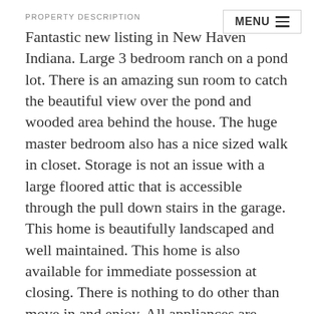PROPERTY DESCRIPTION
Fantastic new listing in New Haven Indiana. Large 3 bedroom ranch on a pond lot. There is an amazing sun room to catch the beautiful view over the pond and wooded area behind the house. The huge master bedroom also has a nice sized walk in closet. Storage is not an issue with a large floored attic that is accessible through the pull down stairs in the garage. This home is beautifully landscaped and well maintained. This home is also available for immediate possession at closing. There is nothing to do other than move in and enjoy. All appliances are included. Schedule your showing today.
DIRECTIONS
Seiler Road east of Hartzell Road, Woodfield is on the north side of Seiler Road